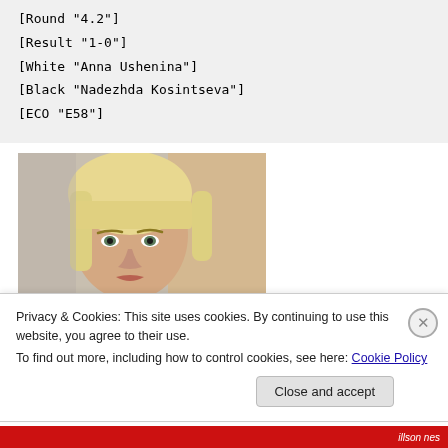[Round "4.2"]
[Result "1-0"]
[White "Anna Ushenina"]
[Black "Nadezhda Kosintseva"]
[ECO "E58"]
[Figure (photo): Photo of a young blonde woman (Anna Ushenina) with straight hair and bangs, resting her chin on her hand, looking at camera against a blurred background.]
Privacy & Cookies: This site uses cookies. By continuing to use this website, you agree to their use.
To find out more, including how to control cookies, see here: Cookie Policy
Close and accept